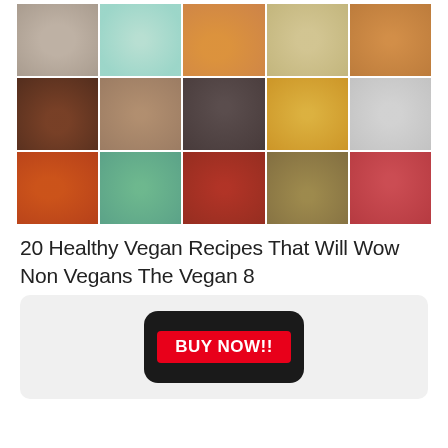[Figure (photo): A 5x3 grid collage of vegan food photos including soups, sandwiches, desserts, grain bowls, and vegetable dishes]
20 Healthy Vegan Recipes That Will Wow Non Vegans The Vegan 8
[Figure (photo): A smartphone displaying a red 'BUY NOW!!' button on a light gray background]